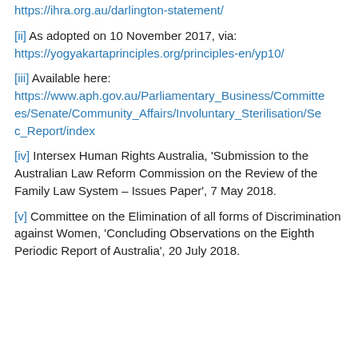https://ihra.org.au/darlington-statement/
[ii] As adopted on 10 November 2017, via: https://yogyakartaprinciples.org/principles-en/yp10/
[iii] Available here: https://www.aph.gov.au/Parliamentary_Business/Committees/Senate/Community_Affairs/Involuntary_Sterilisation/Sec_Report/index
[iv] Intersex Human Rights Australia, ‘Submission to the Australian Law Reform Commission on the Review of the Family Law System – Issues Paper’, 7 May 2018.
[v] Committee on the Elimination of all forms of Discrimination against Women, ‘Concluding Observations on the Eighth Periodic Report of Australia’, 20 July 2018.